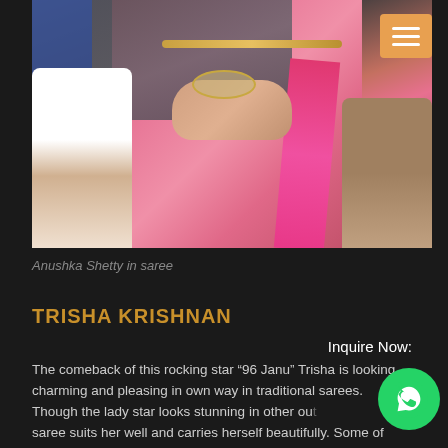[Figure (photo): Photo of Anushka Shetty wearing a pink and grey saree with gold border details, holding the saree pleats. A man in white shirt is visible on the left, a woman in printed outfit on the right. A hamburger menu button in orange is overlaid top-right.]
Anushka Shetty in saree
TRISHA KRISHNAN
Inquire Now:
The comeback of this rocking star “96 Janu” Trisha is looking charming and pleasing in own way in traditional sarees. Though the lady star looks stunning in other outfits, saree suits her well and carries herself beautifully. Some of